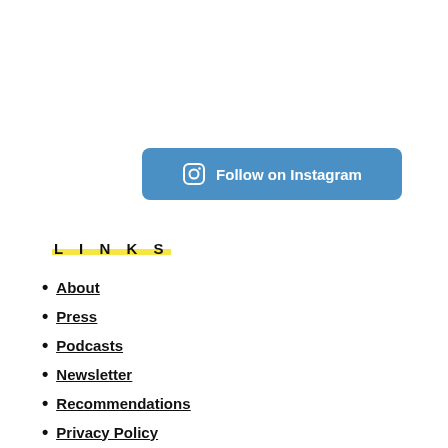[Figure (other): Blue rounded button with Instagram camera icon and text 'Follow on Instagram' in white]
L I N K S
About
Press
Podcasts
Newsletter
Recommendations
Privacy Policy